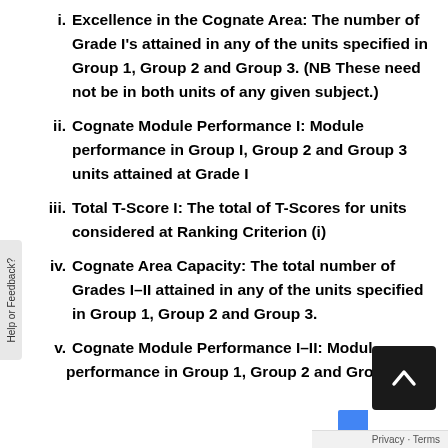i. Excellence in the Cognate Area: The number of Grade I's attained in any of the units specified in Group 1, Group 2 and Group 3. (NB These need not be in both units of any given subject.)
ii. Cognate Module Performance I: Module performance in Group I, Group 2 and Group 3 units attained at Grade I
iii. Total T-Score I: The total of T-Scores for units considered at Ranking Criterion (i)
iv. Cognate Area Capacity: The total number of Grades I–II attained in any of the units specified in Group 1, Group 2 and Group 3.
v. Cognate Module Performance I–II: Module performance in Group 1, Group 2 and Group 3